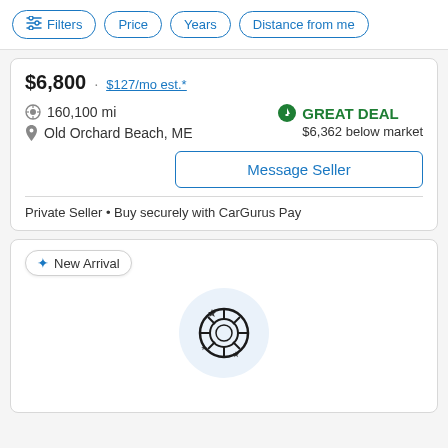Filters | Price | Years | Distance from me
$6,800 · $127/mo est.*
160,100 mi
Old Orchard Beach, ME
GREAT DEAL
$6,362 below market
Message Seller
Private Seller • Buy securely with CarGurus Pay
New Arrival
[Figure (illustration): Car tire/wheel icon with sparkle decorations on a light blue circular background]